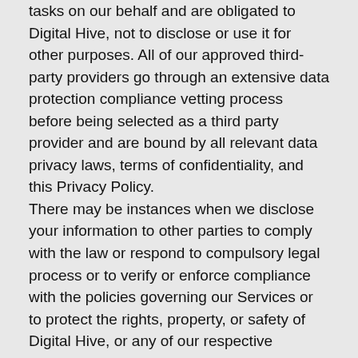tasks on our behalf and are obligated to Digital Hive, not to disclose or use it for other purposes. All of our approved third-party providers go through an extensive data protection compliance vetting process before being selected as a third party provider and are bound by all relevant data privacy laws, terms of confidentiality, and this Privacy Policy. There may be instances when we disclose your information to other parties to comply with the law or respond to compulsory legal process or to verify or enforce compliance with the policies governing our Services or to protect the rights, property, or safety of Digital Hive, or any of our respective affiliates, business partners, or customers.
Your Choices:
We offer a variety of choices about how we use your information. You can make choices about whether to receive promotional communications from us by